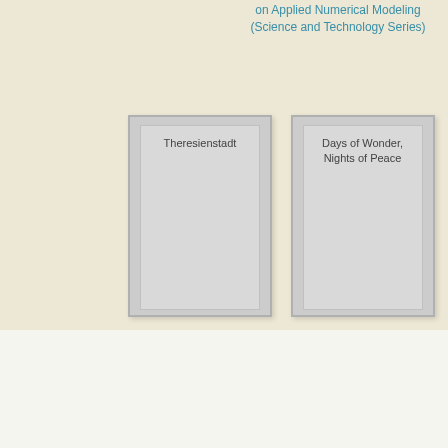on Applied Numerical Modeling (Science and Technology Series)
[Figure (illustration): Book cover placeholder for Theresienstadt - gray cover with title text]
Theresienstadt
[Figure (illustration): Book cover placeholder for Days of Wonder, Nights of Peace - gray cover with title text]
Days of Wonder, Nights of Peace
First fifty years, American roller skates, 1860-1910 by National Museum of Roller Skating (U.S.) Download PDF EPUB FB2